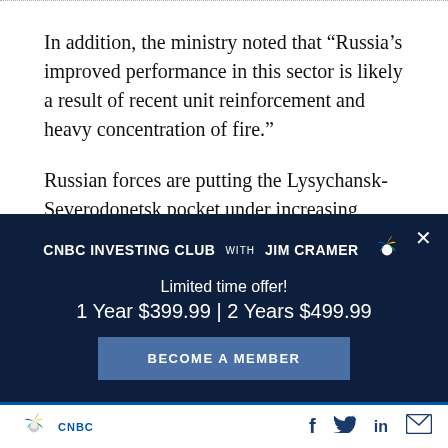In addition, the ministry noted that “Russia’s improved performance in this sector is likely a result of recent unit reinforcement and heavy concentration of fire.”
Russian forces are putting the Lysychansk-Severodonetsk pocket under increasing pressure,
[Figure (other): CNBC Investing Club with Jim Cramer advertisement overlay on dark navy background. Shows promotional text: 'Limited time offer! 1 Year $399.99 | 2 Years $499.99' with a 'BECOME A MEMBER' button and a close (X) button.]
CNBC logo with peacock icon, social media icons: Facebook, Twitter, LinkedIn, Email